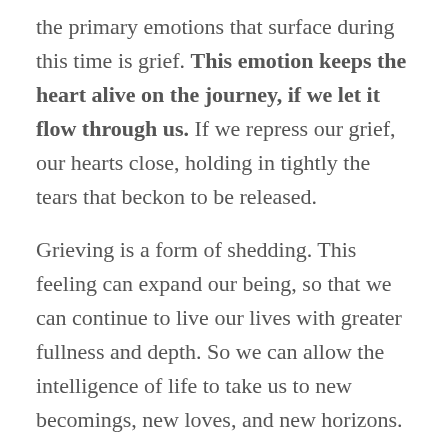the primary emotions that surface during this time is grief. This emotion keeps the heart alive on the journey, if we let it flow through us. If we repress our grief, our hearts close, holding in tightly the tears that beckon to be released.
Grieving is a form of shedding. This feeling can expand our being, so that we can continue to live our lives with greater fullness and depth. So we can allow the intelligence of life to take us to new becomings, new loves, and new horizons.
As the river of life carries us forward, we will find